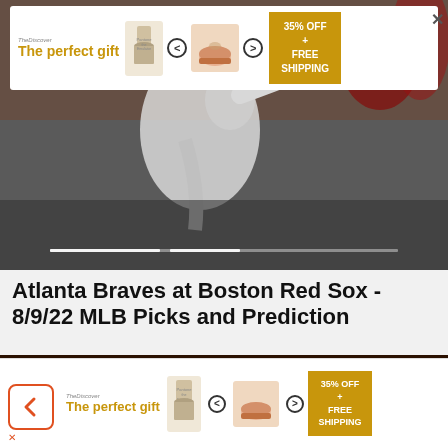[Figure (photo): Sports photo background with advertisement banner overlay showing 'The perfect gift' with bowl product, navigation arrows, and '35% OFF + FREE SHIPPING' offer in gold]
Atlanta Braves at Boston Red Sox - 8/9/22 MLB Picks and Prediction
Pickdawgz
[Figure (photo): Close-up photo of a hand holding blister packs of blue diamond-shaped pills (pharmaceutical tablets)]
[Figure (photo): Bottom advertisement banner showing 'The perfect gift' with bowl product, navigation arrows, and '35% OFF + FREE SHIPPING' offer, with back navigation button]